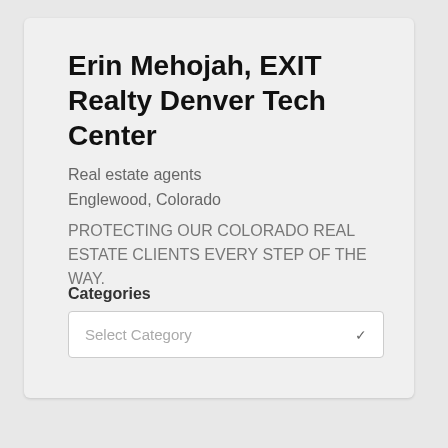Erin Mehojah, EXIT Realty Denver Tech Center
Real estate agents
Englewood, Colorado
PROTECTING OUR COLORADO REAL ESTATE CLIENTS EVERY STEP OF THE WAY.
Categories
Select Category